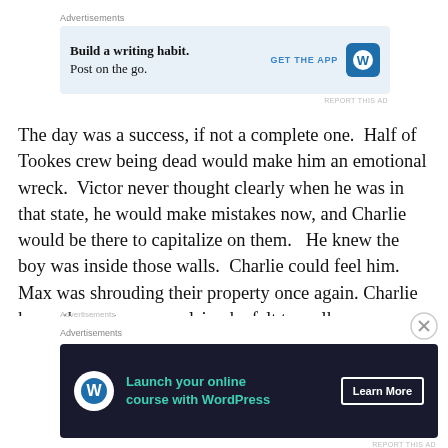[Figure (other): Top advertisement banner: 'Build a writing habit. Post on the go.' with GET THE APP button and WordPress logo, on light blue background]
The day was a success, if not a complete one.  Half of Tookes crew being dead would make him an emotional wreck.  Victor never thought clearly when he was in that state, he would make mistakes now, and Charlie would be there to capitalize on them.   He knew the boy was inside those walls.  Charlie could feel him.  Max was shrouding their property once again.  Charlie knew the vague compulsion he felt to walk away was Max.  In his soldiers, it was overwhelming.  “What is it about that boy,” he said out loud.
[Figure (other): Bottom advertisement banner: 'Launch your online course with WordPress' with Learn More button on dark navy background]